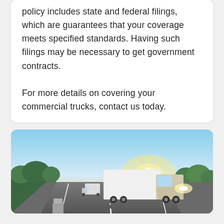policy includes state and federal filings, which are guarantees that your coverage meets specified standards. Having such filings may be necessary to get government contracts.

For more details on covering your commercial trucks, contact us today.
[Figure (photo): Two large commercial semi-trucks driving on a highway at sunset, with sunlight shining brightly through the scene and trees lining the road.]